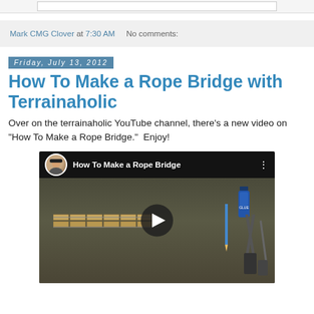Mark CMG Clover at 7:30 AM   No comments:
Friday, July 13, 2012
How To Make a Rope Bridge with Terrainaholic
Over on the terrainaholic YouTube channel, there's a new video on "How To Make a Rope Bridge."  Enjoy!
[Figure (screenshot): Embedded YouTube video thumbnail showing 'How To Make a Rope Bridge' with a play button overlay. Shows a man's avatar, video title text, and a workbench scene with rope bridge materials, tools, and glue.]